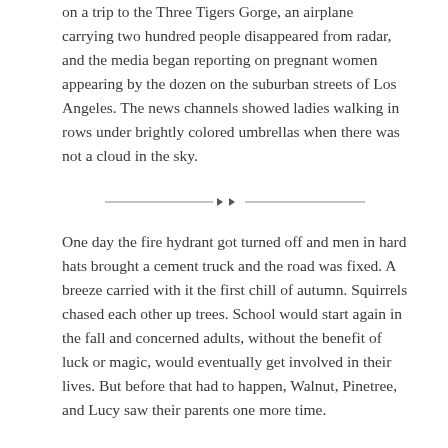on a trip to the Three Tigers Gorge, an airplane carrying two hundred people disappeared from radar, and the media began reporting on pregnant women appearing by the dozen on the suburban streets of Los Angeles. The news channels showed ladies walking in rows under brightly colored umbrellas when there was not a cloud in the sky.
[Figure (other): Decorative section divider: a horizontal line with a small arrow or ornament in the center]
One day the fire hydrant got turned off and men in hard hats brought a cement truck and the road was fixed. A breeze carried with it the first chill of autumn. Squirrels chased each other up trees. School would start again in the fall and concerned adults, without the benefit of luck or magic, would eventually get involved in their lives. But before that had to happen, Walnut, Pinetree, and Lucy saw their parents one more time.